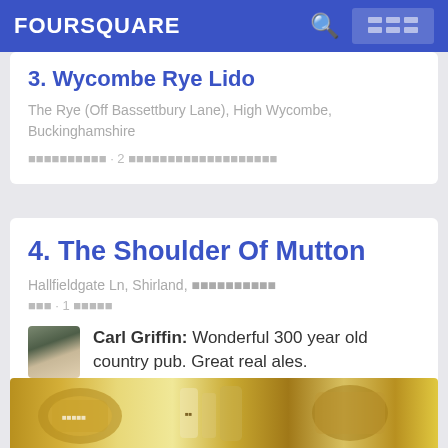FOURSQUARE
3. Wycombe Rye Lido
The Rye (Off Bassettbury Lane), High Wycombe, Buckinghamshire
[corrupted text] · 2 [corrupted text]
4. The Shoulder Of Mutton
Hallfieldgate Ln, Shirland, [corrupted text]
[corrupted] · 1 [corrupted]
Carl Griffin: Wonderful 300 year old country pub. Great real ales.
[Figure (photo): Bottom strip showing pub/bar interior with bottles and decorations]